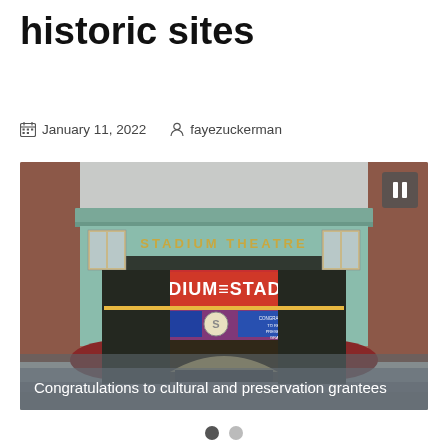historic sites
January 11, 2022   fayezuckerman
[Figure (photo): Exterior photo of the Stadium Theatre building, a historic venue with green ornamental facade, red marquee reading 'STADIUM STADIUM', awnings, and a sign reading 'Congratulations to cultural and preservation grantees'.]
Congratulations to cultural and preservation grantees